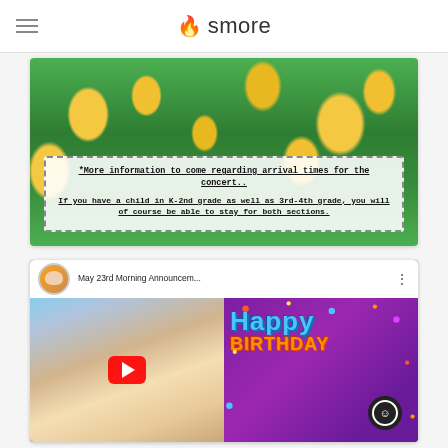smore
[Figure (photo): Yellow spring flowers (crocuses) in green grass with a white semi-transparent text overlay box containing concert arrival information]
*More information to come regarding arrival times for the concert..
If you have a child in K-2nd grade as well as 3rd-4th grade, you will of course be able to stay for both sections.
[Figure (screenshot): YouTube video thumbnail for 'May 23rd Morning Announcem...' showing a woman on the left half and a Happy Birthday graphic on the right half with a red play button overlay]